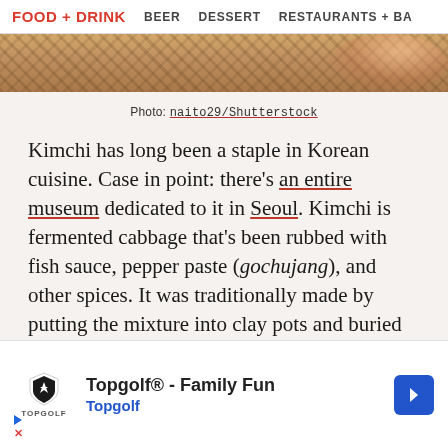FOOD + DRINK   BEER   DESSERT   RESTAURANTS + BA
[Figure (photo): Top portion of a food photo showing a plate on a woven mat background, partially cropped]
Photo: naito29/Shutterstock
Kimchi has long been a staple in Korean cuisine. Case in point: there's an entire museum dedicated to it in Seoul. Kimchi is fermented cabbage that's been rubbed with fish sauce, pepper paste (gochujang), and other spices. It was traditionally made by putting the mixture into clay pots and buried in the ground, but it's also industrially produced... ...eaten for bre... ...e is the ty... ...e variati... ...sh.
[Figure (other): Advertisement banner for Topgolf - Family Fun, Topgolf with logo and navigation arrow icon]